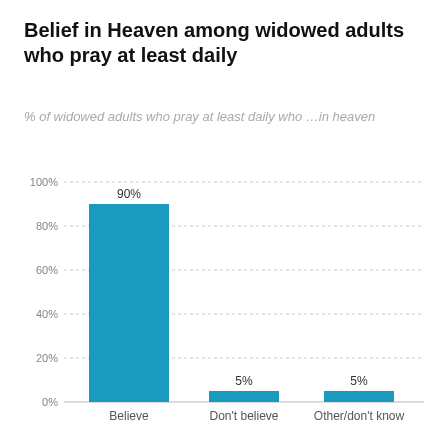Belief in Heaven among widowed adults who pray at least daily
% of widowed adults who pray at least daily who …in heaven
[Figure (bar-chart): Belief in Heaven among widowed adults who pray at least daily]